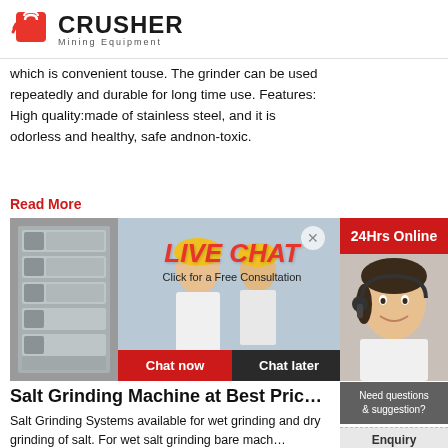[Figure (logo): CRUSHER Mining Equipment logo with red shopping bag icon]
which is convenient touse. The grinder can be used repeatedly and durable for long time use. Features: High quality:made of stainless steel, and it is odorless and healthy, safe andnon-toxic.
Read More
[Figure (screenshot): Live Chat popup overlay on machinery and workers background images, with Chat now and Chat later buttons. 24Hrs Online badge in top right.]
Salt Grinding Machine at Best Pric...
Salt Grinding Systems available for wet grinding and dry grinding of salt. For wet salt grinding bare machines are available. For wet salt grinding, generally Hamm... being used and for dry salt grinding, Universal M... used. Salt being hygroscopic item
Read More
[Figure (infographic): Right sidebar with Need questions & suggestion? Chat Now button, Enquiry section, and limingjlmofen@sina.com contact]